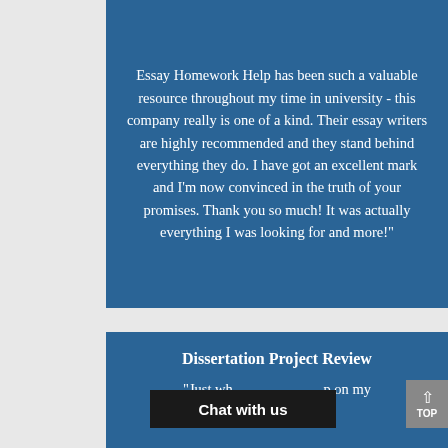Essay Homework Help has been such a valuable resource throughout my time in university - this company really is one of a kind. Their essay writers are highly recommended and they stand behind everything they do. I have got an excellent mark and I'm now convinced in the truth of your promises. Thank you so much! It was actually everything I was looking for and more!"
Dissertation Project Review
"Just wh... p on my